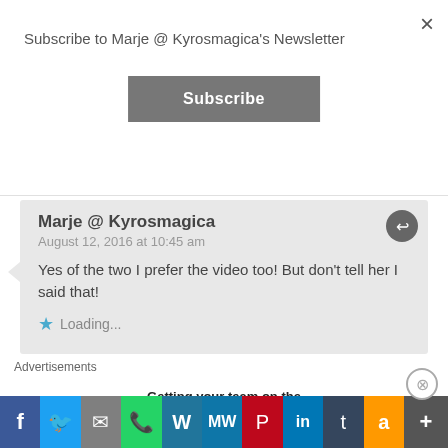Subscribe to Marje @ Kyrosmagica's Newsletter
×
Subscribe
Marje @ Kyrosmagica
August 12, 2016 at 10:45 am
Yes of the two I prefer the video too! But don't tell her I said that!
Loading...
Richard Ankers
August 12, 2016 at 11:16 am
Advertisements
Getting your team on the same page
[Figure (screenshot): Social media share bar with icons: Facebook, Twitter, Email, WhatsApp, WordPress, MeWe, Pinterest, LinkedIn, Tumblr, Amazon, More]